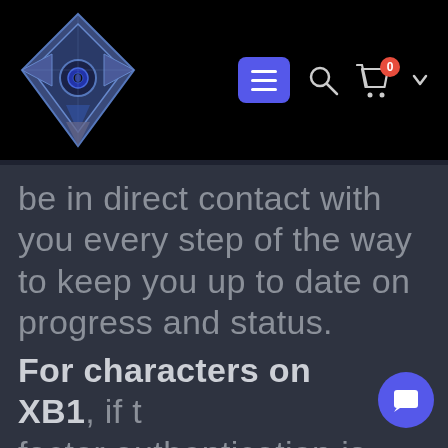[Figure (logo): Diamond-shaped ghost logo icon from Destiny game, blue and silver metallic design with eye symbol]
Navigation bar with hamburger menu button, search icon, cart icon with badge showing 0, and chevron
be in direct contact with you every step of the way to keep you up to date on progress and status.
For characters on XB1, if two factor authentication is